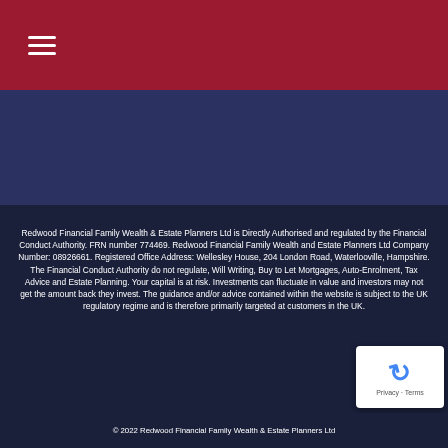[Figure (other): Red header bar with hamburger menu icon (three white horizontal lines)]
Redwood Financial Family Wealth & Estate Planners Ltd is Directly Authorised and regulated by the Financial Conduct Authority. FRN number 774469. Redwood Financial Family Wealth and Estate Planners Ltd Company Number: 08926661. Registered Office Address: Wellesley House, 204 London Road, Waterlooville, Hampshire. The Financial Conduct Authority do not regulate, Will Writing, Buy to Let Mortgages, Auto-Enrolment, Tax Advice and Estate Planning. Your capital is at risk. Investments can fluctuate in value and investors may not get the amount back they invest. The guidance and/or advice contained within the website is subject to the UK regulatory regime and is therefore primarily targeted at customers in the UK.
© 2022 Redwood Financial Family Wealth & Estate Planners Ltd